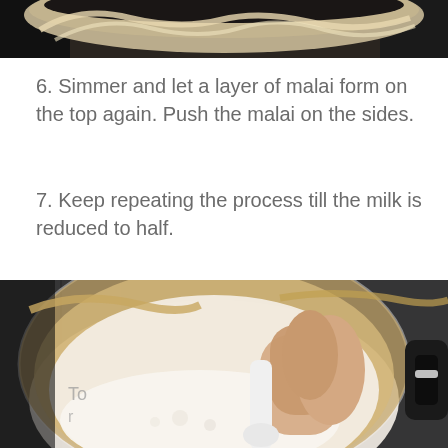[Figure (photo): Top portion of a pot with malai (cream) film forming on edges, dark stovetop background, partial view cropped at top of page]
6. Simmer and let a layer of malai form on the top again. Push the malai on the sides.
7. Keep repeating the process till the milk is reduced to half.
[Figure (photo): Overhead view of a pot with thick malai/cream coating on the sides, a hand holding a white spoon stirring milk, dark granite background, stove handle visible on right]